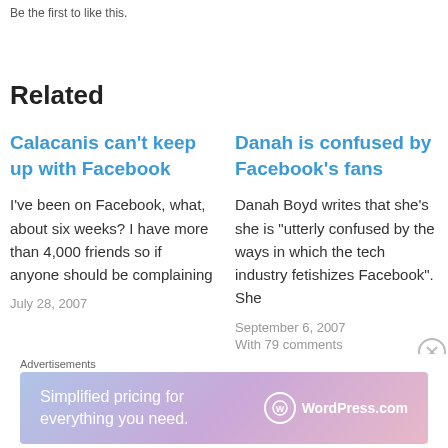Be the first to like this.
Related
Calacanis can't keep up with Facebook
I've been on Facebook, what, about six weeks? I have more than 4,000 friends so if anyone should be complaining
July 28, 2007
Danah is confused by Facebook's fans
Danah Boyd writes that she's she is "utterly confused by the ways in which the tech industry fetishizes Facebook". She
September 6, 2007
With 79 comments
Advertisements
[Figure (other): WordPress.com advertisement banner: 'Simplified pricing for everything you need.' with WordPress.com logo on a pink/purple gradient background]